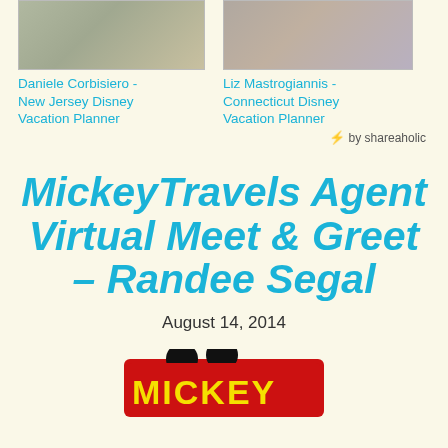[Figure (photo): Photo of Daniele Corbisiero - New Jersey Disney Vacation Planner, showing a family at Disney]
Daniele Corbisiero - New Jersey Disney Vacation Planner
[Figure (photo): Photo of Liz Mastrogiannis - Connecticut Disney Vacation Planner, showing a family at Disney]
Liz Mastrogiannis - Connecticut Disney Vacation Planner
⚡ by shareaholic
MickeyTravels Agent Virtual Meet & Greet – Randee Segal
August 14, 2014
[Figure (logo): Mickey Travels logo with red background and Mickey Mouse silhouette]